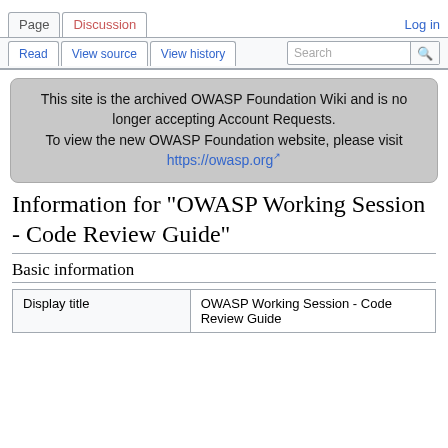Page  Discussion  Log in
Read  View source  View history  Search
This site is the archived OWASP Foundation Wiki and is no longer accepting Account Requests. To view the new OWASP Foundation website, please visit https://owasp.org
Information for "OWASP Working Session - Code Review Guide"
Basic information
| Display title | OWASP Working Session - Code Review Guide |
| --- | --- |